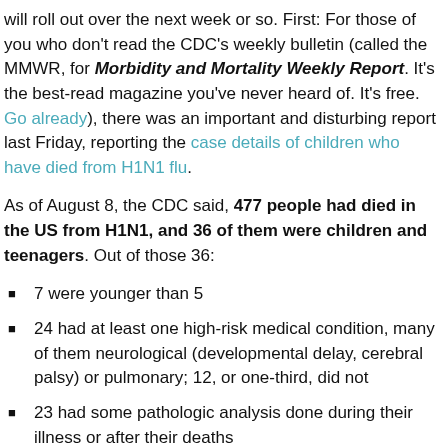will roll out over the next week or so. First: For those of you who don't read the CDC's weekly bulletin (called the MMWR, for Morbidity and Mortality Weekly Report. It's the best-read magazine you've never heard of. It's free. Go already), there was an important and disturbing report last Friday, reporting the case details of children who have died from H1N1 flu.
As of August 8, the CDC said, 477 people had died in the US from H1N1, and 36 of them were children and teenagers. Out of those 36:
7 were younger than 5
24 had at least one high-risk medical condition, many of them neurological (developmental delay, cerebral palsy) or pulmonary; 12, or one-third, did not
23 had some pathologic analysis done during their illness or after their deaths